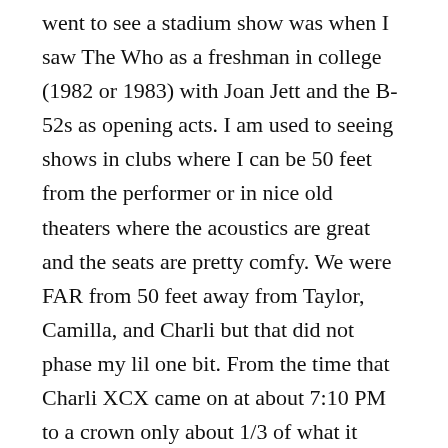went to see a stadium show was when I saw The Who as a freshman in college (1982 or 1983) with Joan Jett and the B-52s as opening acts. I am used to seeing shows in clubs where I can be 50 feet from the performer or in nice old theaters where the acoustics are great and the seats are pretty comfy. We were FAR from 50 feet away from Taylor, Camilla, and Charli but that did not phase my lil one bit. From the time that Charli XCX came on at about 7:10 PM to a crown only about 1/3 of what it would soon be, my daughter was engaged. Charli XCX was energetic and passionate. She worked what crowd was there and she kind of won me over. Camilla Cabello had a tight, synchronized, and choreographed set. She played most of the CD and liked and she kind of Probably